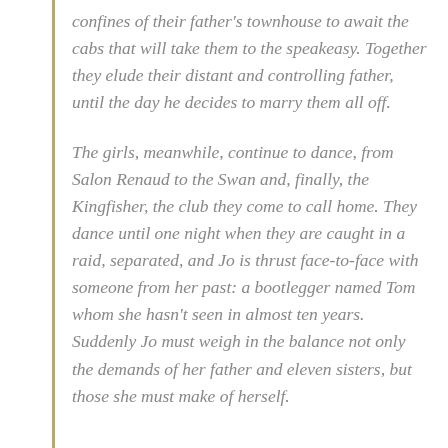confines of their father's townhouse to await the cabs that will take them to the speakeasy. Together they elude their distant and controlling father, until the day he decides to marry them all off.
The girls, meanwhile, continue to dance, from Salon Renaud to the Swan and, finally, the Kingfisher, the club they come to call home. They dance until one night when they are caught in a raid, separated, and Jo is thrust face-to-face with someone from her past: a bootlegger named Tom whom she hasn't seen in almost ten years. Suddenly Jo must weigh in the balance not only the demands of her father and eleven sisters, but those she must make of herself.